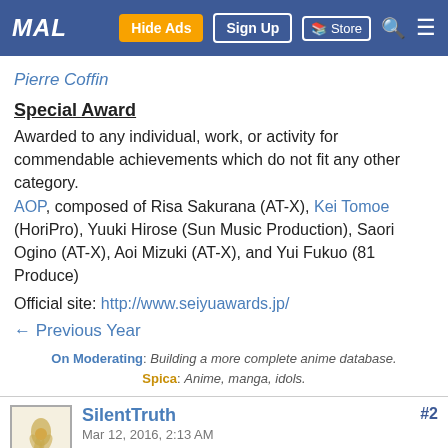MAL | Hide Ads | Sign Up | Store
Pierre Coffin
Special Award
Awarded to any individual, work, or activity for commendable achievements which do not fit any other category. AOP, composed of Risa Sakurana (AT-X), Kei Tomoe (HoriPro), Yuuki Hirose (Sun Music Production), Saori Ogino (AT-X), Aoi Mizuki (AT-X), and Yui Fukuo (81 Produce)
Official site: http://www.seiyuawards.jp/
← Previous Year
On Moderating: Building a more complete anime database. Spica: Anime, manga, idols.
SilentTruth
Mar 12, 2016, 2:13 AM
#2
CONGRATS TO INORIN & HAYAMINNN!!!! Really well deserved